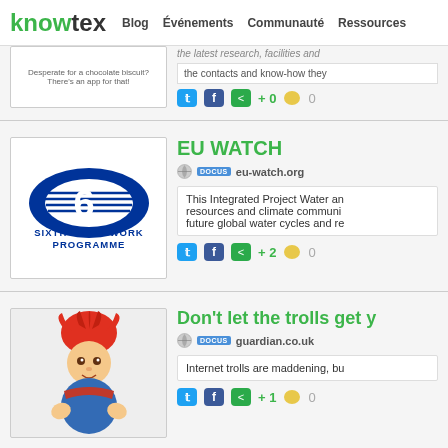knowtex | Blog | Événements | Communauté | Ressources
[Figure (screenshot): Partial card with thumbnail showing 'Desperate for a chocolate biscuit? There's an app for that!' text, with social action icons and counts +0, comment 0]
[Figure (logo): Sixth Framework Programme logo with blue oval and '6' shape]
EU WATCH
DOCUS   eu-watch.org
This Integrated Project Water and resources and climate communi future global water cycles and re
[Figure (photo): Troll doll with red hair in colorful outfit]
Don't let the trolls get y
DOCUS   guardian.co.uk
Internet trolls are maddening, bu
[Figure (photo): Nature Climate Change magazine cover]
Nature Climate Chang